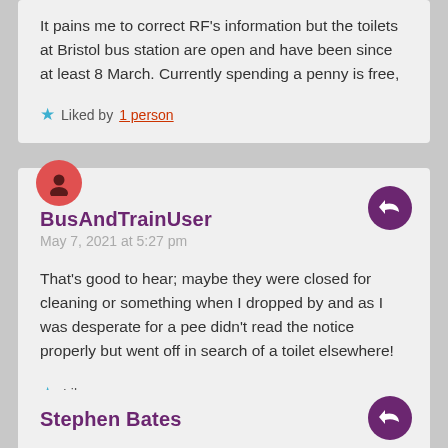It pains me to correct RF's information but the toilets at Bristol bus station are open and have been since at least 8 March. Currently spending a penny is free,
Liked by 1 person
BusAndTrainUser
May 7, 2021 at 5:27 pm
That's good to hear; maybe they were closed for cleaning or something when I dropped by and as I was desperate for a pee didn't read the notice properly but went off in search of a toilet elsewhere!
Like
Stephen Bates